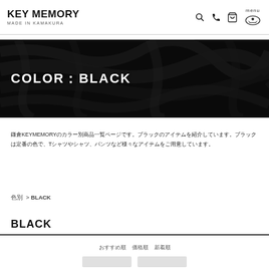KEY MEMORY / MADE IN KAMAKURA
[Figure (photo): Dark black fabric texture used as hero banner image with text COLOR：BLACK overlaid in white bold letters]
COLOR：BLACK
鎌倉KEYMEMORYのカラー別商品一覧ページです。ブラックのアイテムを紹介しています。ブラックは定番の色で、Tシャツやシャツ、パンツなど様々なアイテムをご用意しています。
色別  > BLACK
BLACK
おすすめ順　価格順　新着順